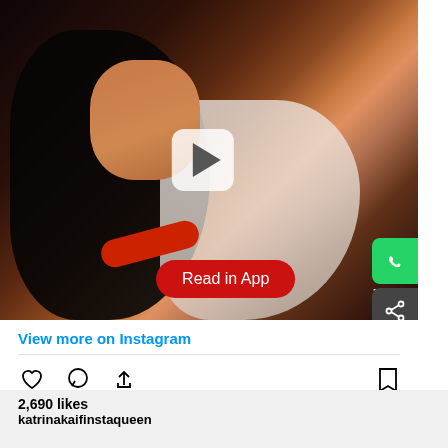[Figure (screenshot): Video thumbnail showing two women embracing on stage, one in a black outfit with red bracelet, the other in a white feathered outfit. A play button overlay is visible in the center. Watermark 'TAT' visible in bottom right. WhatsApp and share buttons on the right edge.]
View more on Instagram
2,690 likes
katrinakaifinstaqueen